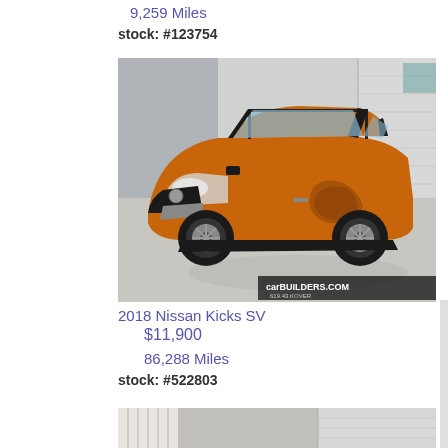9,259 Miles
stock: #123754
[Figure (photo): Orange 2018 Nissan Kicks SV with side damage, parked in a garage/warehouse, with a carbuilders.com watermark in the bottom right corner.]
2018 Nissan Kicks SV
$11,900
86,288 Miles
stock: #522803
[Figure (photo): Partial view of another vehicle in a garage/warehouse setting, bottom of page.]